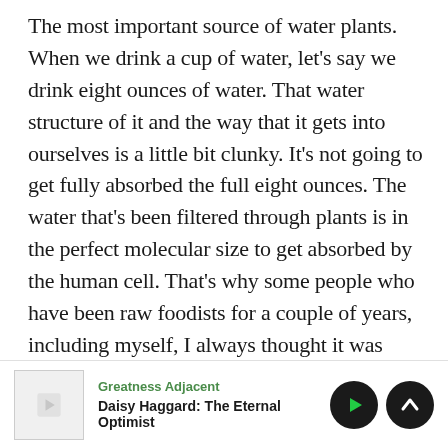The most important source of water plants. When we drink a cup of water, let's say we drink eight ounces of water. That water structure of it and the way that it gets into ourselves is a little bit clunky. It's not going to get fully absorbed the full eight ounces. The water that's been filtered through plants is in the perfect molecular size to get absorbed by the human cell. That's why some people who have been raw foodists for a couple of years, including myself, I always thought it was early on in my journey of nutrition. I felt like it was my duty to try out all these different types of more extreme eating. I was 100% raw foodist for years. I noticed that my need for water dropped at
[Figure (screenshot): Podcast player bar showing 'Greatness Adjacent' podcast with episode 'Daisy Haggard: The Eternal Optimist', with play button and up arrow button]